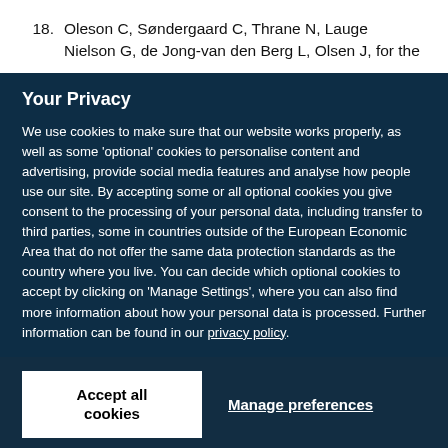18. Oleson C, Søndergaard C, Thrane N, Lauge Nielson G, de Jong-van den Berg L, Olsen J, for the
Your Privacy
We use cookies to make sure that our website works properly, as well as some 'optional' cookies to personalise content and advertising, provide social media features and analyse how people use our site. By accepting some or all optional cookies you give consent to the processing of your personal data, including transfer to third parties, some in countries outside of the European Economic Area that do not offer the same data protection standards as the country where you live. You can decide which optional cookies to accept by clicking on 'Manage Settings', where you can also find more information about how your personal data is processed. Further information can be found in our privacy policy.
Accept all cookies
Manage preferences